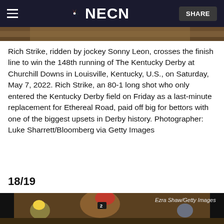NECN
[Figure (photo): Partial view of horse racing photo at top of page, showing dirt track and horses]
Rich Strike, ridden by jockey Sonny Leon, crosses the finish line to win the 148th running of The Kentucky Derby at Churchill Downs in Louisville, Kentucky, U.S., on Saturday, May 7, 2022. Rich Strike, an 80-1 long shot who only entered the Kentucky Derby field on Friday as a last-minute replacement for Ethereal Road, paid off big for bettors with one of the biggest upsets in Derby history. Photographer: Luke Sharrett/Bloomberg via Getty Images
18/19
[Figure (photo): Jockey on horse number 2 in red and gold silks, racing at the Kentucky Derby. Credit: Ezra Shaw/Getty Images]